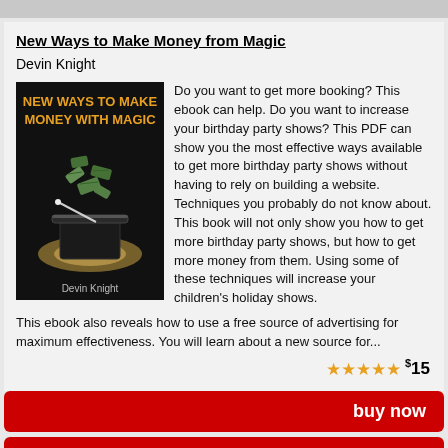New Ways to Make Money from Magic
Devin Knight
[Figure (illustration): Book cover for 'New Ways to Make Money with Magic' by Devin Knight, showing a magic hat with money flying out, on a dark background with orange title text.]
Do you want to get more booking? This ebook can help. Do you want to increase your birthday party shows? This PDF can show you the most effective ways available to get more birthday party shows without having to rely on building a website. Techniques you probably do not know about. This book will not only show you how to get more birthday party shows, but how to get more money from them. Using some of these techniques will increase your children's holiday shows.

This ebook also reveals how to use a free source of advertising for maximum effectiveness. You will learn about a new source for...
★★★★★ $15
buy now
add to cart